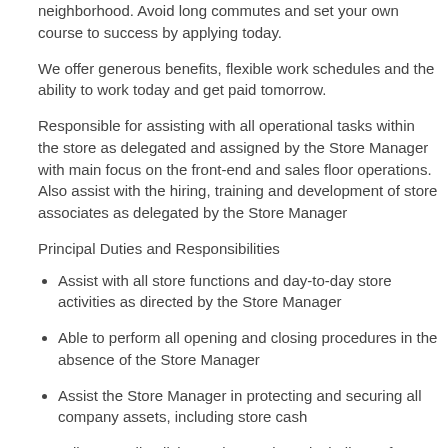neighborhood. Avoid long commutes and set your own course to success by applying today.
We offer generous benefits, flexible work schedules and the ability to work today and get paid tomorrow.
Responsible for assisting with all operational tasks within the store as delegated and assigned by the Store Manager with main focus on the front-end and sales floor operations. Also assist with the hiring, training and development of store associates as delegated by the Store Manager
Principal Duties and Responsibilities
Assist with all store functions and day-to-day store activities as directed by the Store Manager
Able to perform all opening and closing procedures in the absence of the Store Manager
Assist the Store Manager in protecting and securing all company assets, including store cash
Adhere to all policies and procedures including safety guidelines
Maintain a professional and friendly environment with customers, subordinates and supervisors